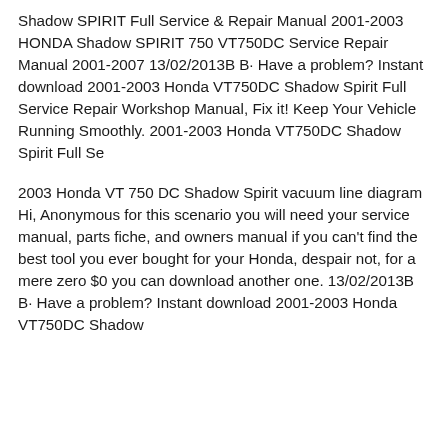Shadow SPIRIT Full Service & Repair Manual 2001-2003 HONDA Shadow SPIRIT 750 VT750DC Service Repair Manual 2001-2007 13/02/2013B B· Have a problem? Instant download 2001-2003 Honda VT750DC Shadow Spirit Full Service Repair Workshop Manual, Fix it! Keep Your Vehicle Running Smoothly. 2001-2003 Honda VT750DC Shadow Spirit Full Se
2003 Honda VT 750 DC Shadow Spirit vacuum line diagram Hi, Anonymous for this scenario you will need your service manual, parts fiche, and owners manual if you can't find the best tool you ever bought for your Honda, despair not, for a mere zero $0 you can download another one. 13/02/2013B B· Have a problem? Instant download 2001-2003 Honda VT750DC Shadow